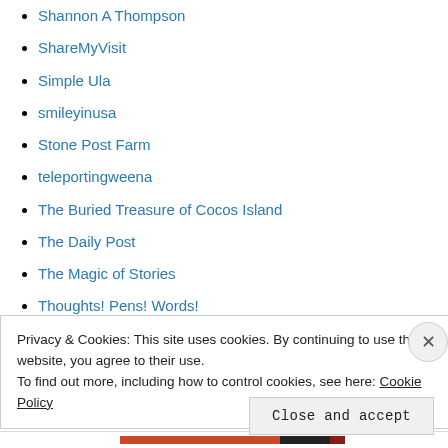Shannon A Thompson
ShareMyVisit
Simple Ula
smileyinusa
Stone Post Farm
teleportingweena
The Buried Treasure of Cocos Island
The Daily Post
The Magic of Stories
Thoughts! Pens! Words!
Words of a Little Heart
Privacy & Cookies: This site uses cookies. By continuing to use this website, you agree to their use.
To find out more, including how to control cookies, see here: Cookie Policy
Close and accept